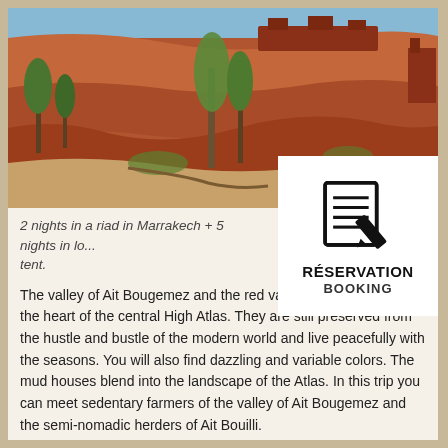[Figure (photo): Landscape photo of red rock formations and cliffs in the Atlas mountains with green trees and vegetation in the foreground under a blue sky]
[Figure (illustration): Reservation/Booking icon: a document with horizontal lines and a pencil overlaid, with text RÉSERVATION BOOKING below]
2 nights in a riad in Marrakech + 5 nights in lo... tent.
The valley of Ait Bougemez and the red valley of Ait Bouilli sit in the heart of the central High Atlas. They are still preserved from the hustle and bustle of the modern world and live peacefully with the seasons. You will also find dazzling and variable colors. The mud houses blend into the landscape of the Atlas. In this trip you can meet sedentary farmers of the valley of Ait Bougemez and the semi-nomadic herders of Ait Bouilli.
The highlights :